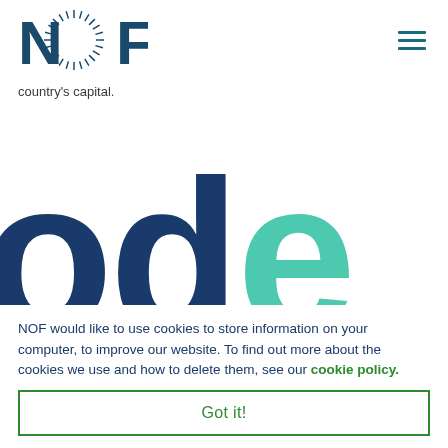[Figure (logo): NOF logo with N, circular sunburst O, and F in dark teal/navy, with hamburger menu icon top right]
country's capital.
[Figure (other): Large partial letters 'ode' in navy blue and teal, cropped decorative typography]
NOF would like to use cookies to store information on your computer, to improve our website. To find out more about the cookies we use and how to delete them, see our cookie policy.
Got it!